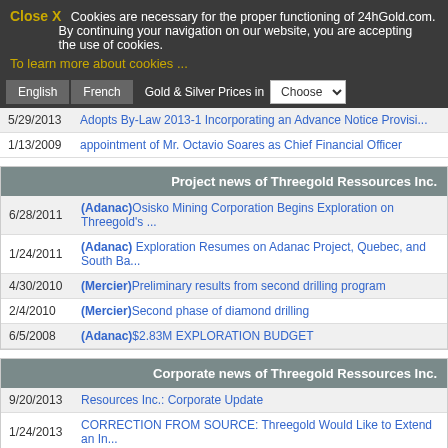Close X  Cookies are necessary for the proper functioning of 24hGold.com. By continuing your navigation on our website, you are accepting the use of cookies.
To learn more about cookies ...
5/29/2013  Adopts By-Law 2013-1 Incorporating an Advance Notice Provisi...
1/13/2009  appointment of Mr. Octavio Soares as Chief Financial Officer
Project news of Threegold Ressources Inc.
6/28/2011  (Adanac)Osisko Mining Corporation Begins Exploration on Threegold's ...
1/24/2011  (Adanac) Exploration Resumes on Adanac Project, Quebec, and South Ba...
4/30/2010  (Mercier)Preliminary results from second drilling program
2/4/2010  (Mercier)Second phase of diamond drilling
6/5/2008  (Adanac)$2.83M EXPLORATION BUDGET
Corporate news of Threegold Ressources Inc.
9/20/2013  Resources Inc.: Corporate Update
1/24/2013  CORRECTION FROM SOURCE: Threegold Would Like to Extend an In...
1/9/2013  Intends to Acquire 19.9% Interest in Golden Eagle Peru
6/1/2011  Osisko Mining Corporation Vice President of Legal Affairs Jo...
5/20/2011  ...